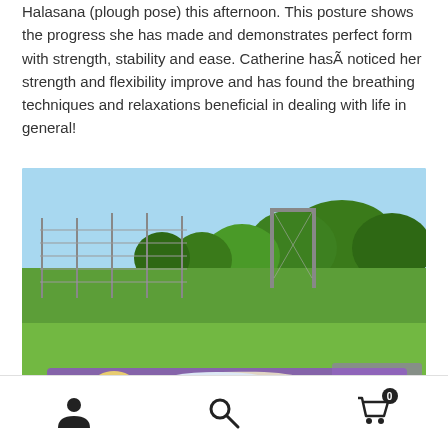Halasana (plough pose) this afternoon. This posture shows the progress she has made and demonstrates perfect form with strength, stability and ease. Catherine hasÂ noticed her strength and flexibility improve and has found the breathing techniques and relaxations beneficial in dealing with life in general!
[Figure (photo): A woman lying flat on her back on a purple yoga mat on a grass field, with a sports goal post and fence in the background and trees behind, photographed under a blue sky on a sunny day.]
Navigation footer with user icon, search icon, and shopping cart icon with badge showing 0